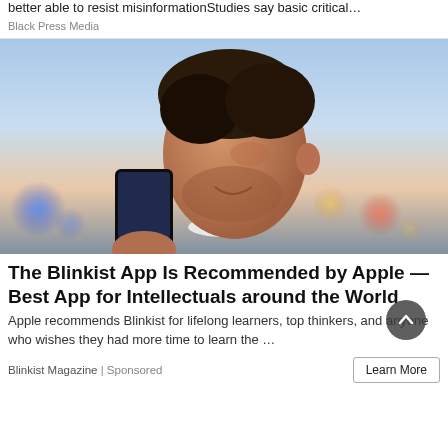better able to resist misinformationStudies say basic critical…
Black Press Media
[Figure (photo): A middle-aged man smiling while looking at a smartphone, photographed outdoors at dusk with bokeh lights in background]
The Blinkist App Is Recommended by Apple — Best App for Intellectuals around the World
Apple recommends Blinkist for lifelong learners, top thinkers, and anyone who wishes they had more time to learn the …
Blinkist Magazine | Sponsored
Learn More